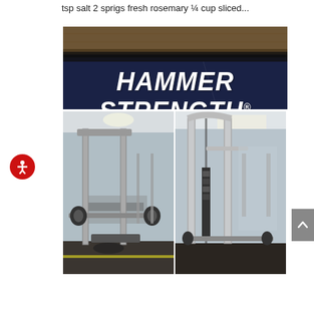tsp salt 2 sprigs fresh rosemary ¼ cup sliced...
[Figure (photo): Hammer Strength brand sign on dark navy equipment bar with wooden floor visible above]
[Figure (photo): Gym equipment — two photos side by side showing Hammer Strength weight machines / smith machines in a gym setting with mirrors and dumbbells in background]